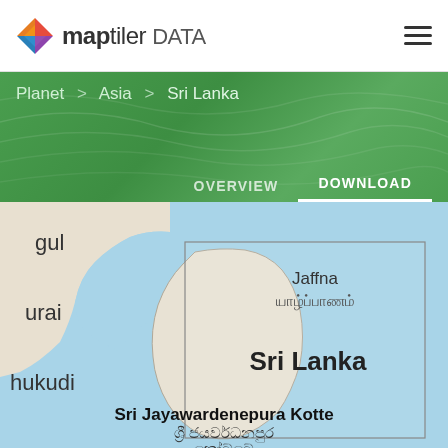[Figure (logo): MapTiler DATA logo with colorful diamond shape]
map tiler DATA
Planet > Asia > Sri Lanka
OVERVIEW   DOWNLOAD
[Figure (map): Map showing Sri Lanka region with surrounding ocean, labeled with Jaffna / யாழ்ப்பாணம், Sri Lanka, Sri Jayawardenepura Kotte / ශ්‍රී ජයවර්ධනපුර කෝට්ටේ, and partial labels gul, urai (Madurai), hukudi (Thoothukudi) on the left edge]